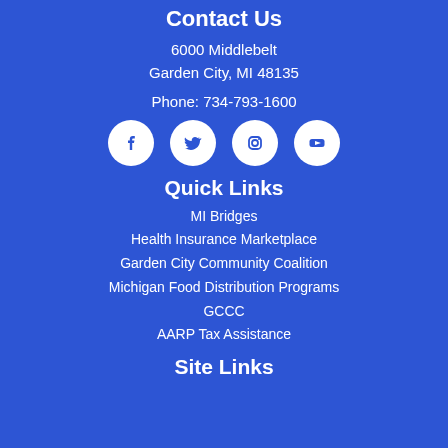Contact Us
6000 Middlebelt
Garden City, MI 48135
Phone: 734-793-1600
[Figure (illustration): Row of four social media icons: Facebook, Twitter, Instagram, YouTube — white icons on blue background with white circular backgrounds]
Quick Links
MI Bridges
Health Insurance Marketplace
Garden City Community Coalition
Michigan Food Distribution Programs
GCCC
AARP Tax Assistance
Site Links